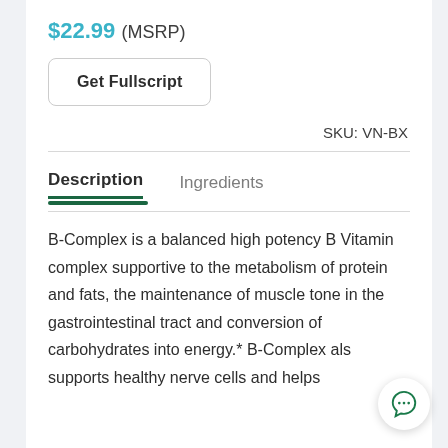$22.99 (MSRP)
Get Fullscript
SKU: VN-BX
Description
Ingredients
B-Complex is a balanced high potency B Vitamin complex supportive to the metabolism of protein and fats, the maintenance of muscle tone in the gastrointestinal tract and conversion of carbohydrates into energy.* B-Complex also supports healthy nerve cells and helps